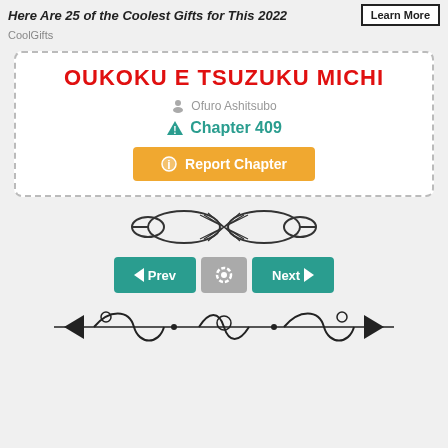Here Are 25 of the Coolest Gifts for This 2022
CoolGifts
OUKOKU E TSUZUKU MICHI
Ofuro Ashitsubo
Chapter 409
Report Chapter
[Figure (illustration): Decorative ornament divider with infinity-like interlocking oval pattern]
< Prev   [settings]   Next >
[Figure (illustration): Decorative horizontal divider with floral and arrow ornament design]